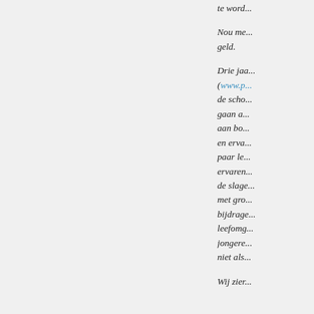te word...
Nou me... geld.
Drie jaa... (www.p... de scho... gaan a... aan bo... en erva... paar le... ervaren... de slage... met gro... bijdrage... leefomg... jongere... niet als...
Wij zier...